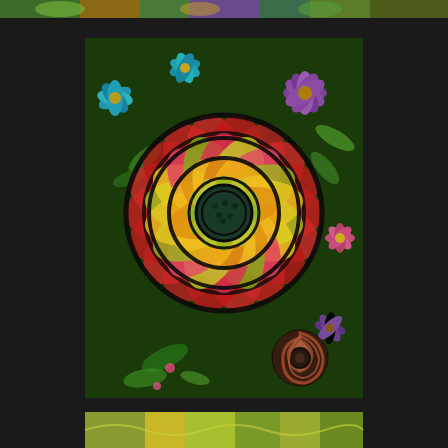[Figure (illustration): Partial strip of colorful floral/nature artwork visible at top edge of page]
[Figure (illustration): Vibrant colorful painting of a large spiral flower in the center, surrounded by smaller flowers in various colors (red, yellow, green, pink, blue, purple). The central flower has concentric rings of petals with bold black outlines, with a dark teal center. Background filled with psychedelic multicolored flowers and leaves.]
[Figure (illustration): Partial strip of colorful floral/nature artwork visible at bottom edge of page]